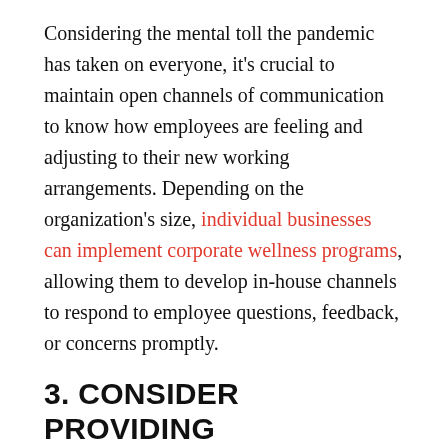Considering the mental toll the pandemic has taken on everyone, it's crucial to maintain open channels of communication to know how employees are feeling and adjusting to their new working arrangements. Depending on the organization's size, individual businesses can implement corporate wellness programs, allowing them to develop in-house channels to respond to employee questions, feedback, or concerns promptly.
3. CONSIDER PROVIDING ADDITIONAL SICK DAYS
Everyone in the workplace must understand that even mild symptoms such as a cough or a slight fever